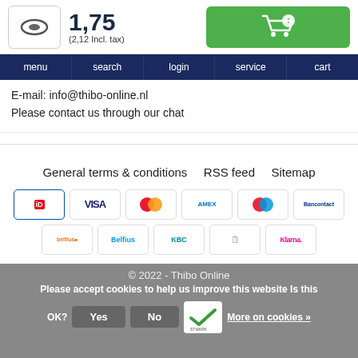1,75 (2,12 Incl. tax)
E-mail: info@thibo-online.nl
Please contact us through our chat
General terms & conditions   RSS feed   Sitemap
[Figure (other): Payment method icons: iD, VISA, Mastercard, American Express, Maestro, Bancontact, KBC, unknown, Klarna, Belfius]
© 2022 - Thibo Online
Please accept cookies to help us improve this website Is this OK?
Yes   No   More on cookies »